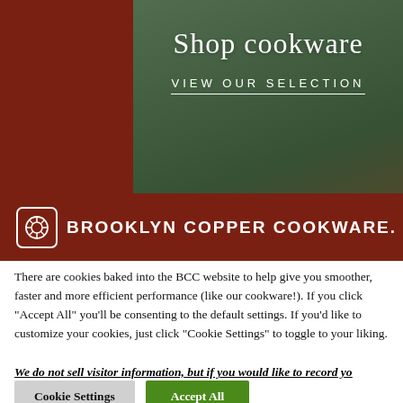[Figure (screenshot): Brooklyn Copper Cookware website banner showing 'Shop cookware' heading over a dark green/teal overlay on cookware image, with 'VIEW OUR SELECTION' subtext and Brooklyn Copper Cookware logo on dark red/brown background.]
Shop cookware
VIEW OUR SELECTION
BROOKLYN COPPER COOKWARE.
There are cookies baked into the BCC website to help give you smoother, faster and more efficient performance (like our cookware!). If you click "Accept All" you'll be consenting to the default settings. If you'd like to customize your cookies, just click "Cookie Settings" to toggle to your liking.
We do not sell visitor information, but if you would like to record yo
Cookie Settings
Accept All